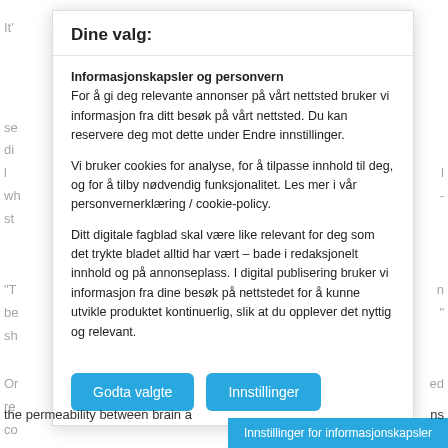It'
se
di
wh
st
"T
be
sh
Or
re
co
th
"A
the permeability between brain a
Dine valg:
Informasjonskapsler og personvern
For å gi deg relevante annonser på vårt nettsted bruker vi informasjon fra ditt besøk på vårt nettsted. Du kan reservere deg mot dette under Endre innstillinger.
Vi bruker cookies for analyse, for å tilpasse innhold til deg, og for å tilby nødvendig funksjonalitet. Les mer i vår personvernerklæring / cookie-policy.
Ditt digitale fagblad skal være like relevant for deg som det trykte bladet alltid har vært – bade i redaksjonelt innhold og på annonseplass. I digital publisering bruker vi informasjon fra dine besøk på nettstedet for å kunne utvikle produktet kontinuerlig, slik at du opplever det nyttig og relevant.
Godta valgte
Innstillinger
Innstillinger for informasjonskapsler